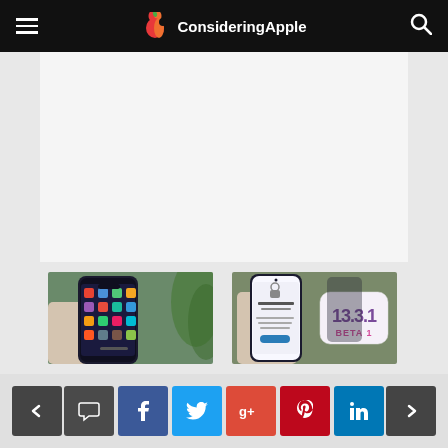ConsideringApple
[Figure (photo): White space / advertisement banner area]
[Figure (photo): Hand holding iPhone with colorful app icons on screen]
Apple Released iOS 13.3.1 Beta 1 For Developers: What's New?
[Figure (photo): iPhone showing Restricted Contact screen with iOS 13.3.1 Beta 1 badge overlay]
What's New in iOS 13.3.1? How To Get The Latest Update?
Navigation bar with prev/next arrows and social share buttons: comment, Facebook, Twitter, Google+, Pinterest, LinkedIn